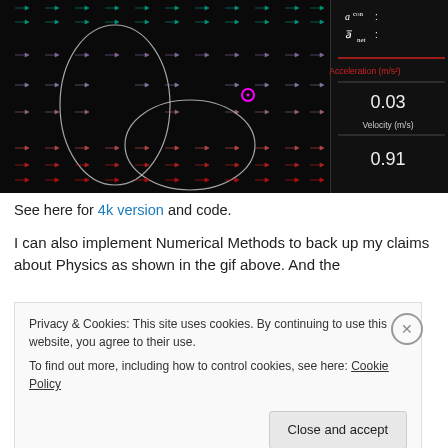[Figure (screenshot): Physics simulation showing a magnetic field vector field visualization on a black background. Colorful arrows (cyan to pink/red gradient) show field lines with white oval/ellipse outlines indicating field regions. A magenta circle marks a point particle. On the right side panel (black background): math symbols a_con and a_net with a horizontal line divider, red label 'Acceleration (m/s²)', value '0.03', label 'Velocity (m/s)', value '0.91']
See here for 4k version and code.
I can also implement Numerical Methods to back up my claims about Physics as shown in the gif above. And the
Privacy & Cookies: This site uses cookies. By continuing to use this website, you agree to their use.
To find out more, including how to control cookies, see here: Cookie Policy
Close and accept